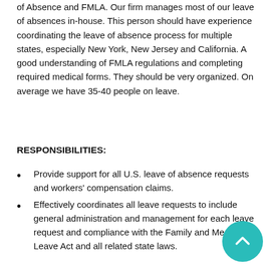We are looking for a Benefits Specialist who specializes in Leaves of Absence and FMLA. Our firm manages most of our leave of absences in-house. This person should have experience coordinating the leave of absence process for multiple states, especially New York, New Jersey and California. A good understanding of FMLA regulations and completing required medical forms. They should be very organized. On average we have 35-40 people on leave.
RESPONSIBILITIES:
Provide support for all U.S. leave of absence requests and workers' compensation claims.
Effectively coordinates all leave requests to include general administration and management for each leave request and compliance with the Family and Medical Leave Act and all related state laws.